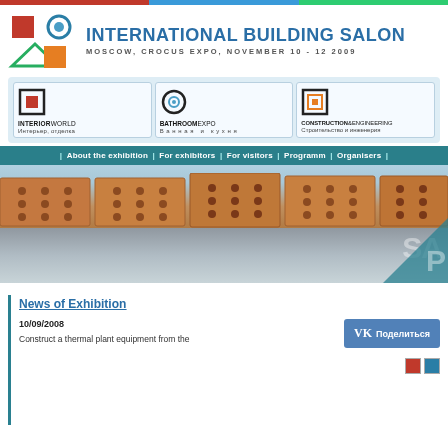[Figure (logo): International Building Salon logo with colored geometric shapes (red square, blue circle, green triangle, orange square)]
INTERNATIONAL BUILDING SALON
MOSCOW, CROCUS EXPO, NOVEMBER 10 - 12 2009
[Figure (infographic): Three sub-exhibition panels: INTERIORWORLD (Интерьер, отделка), BATHROOMEXPO (Ванная и кухня), CONSTRUCTION&ENGINEERING (Строительство и инженерия)]
| About the exhibition | For exhibitors | For visitors | Programm | Organisers |
[Figure (photo): Close-up photo of orange/red perforated bricks stacked with mortar below, watermarked SAMPLE]
News of Exhibition
10/09/2008
Construct a thermal plant equipment from the
[Figure (logo): VK social media share button: VK Поделиться]